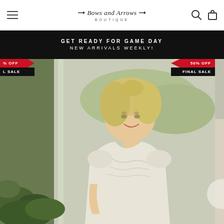Bows and Arrows Boutique - Navigation header with hamburger menu, logo, search and cart icons
GET READY FOR GAME DAY
NEW ARRIVALS WEEKLY!
[Figure (photo): E-commerce boutique website screenshot showing a smiling blonde woman wearing a cream/white short-sleeve ruched top, standing outdoors. Two sale banners visible: left side shows partially visible '% OFF' and 'L SALE' badges in red and black; right side shows '50% OFF' and 'FINAL SALE' badges in red and black.]